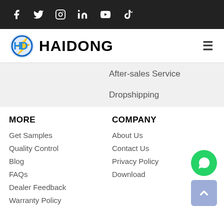Social media icons: Facebook, Twitter, Instagram, LinkedIn, YouTube, TikTok
[Figure (logo): Haidong logo with blue stylized HD icon and bold black HAIDONG text, plus hamburger menu icon]
After-sales Service
Dropshipping
MORE
COMPANY
Get Samples
About Us
Quality Control
Contact Us
Blog
Privacy Policy
FAQs
Download
Dealer Feedback
Warranty Policy